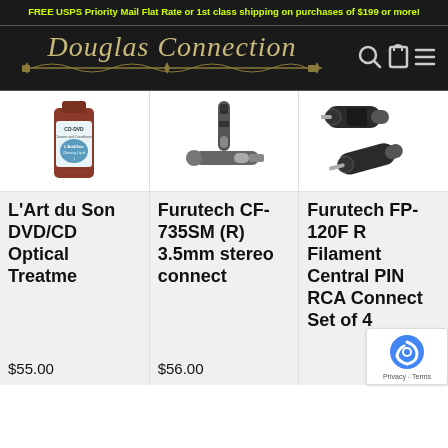FREE USPS Priority Mail Flat Rate or 1st class shipping on purchases of $199 or more!
[Figure (logo): Douglas Connection logo with decorative script text and ornamental underline, with search, cart, and menu icons]
[Figure (photo): Product: L'Art du Son DVD/CD Optical Treatment bottle (brown bottle with blue label)]
L'Art du Son DVD/CD Optical Treatment
$55.00
[Figure (photo): Product: Furutech CF-735SM(R) 3.5mm stereo connector - black carbon fiber plug]
Furutech CF-735SM(R) 3.5mm stereo connect
$56.00
[Figure (photo): Product: Furutech FP-120F R Filament Central PIN RCA Connector Set of 4 - black metal connectors]
Furutech FP-120F R Filament Central PIN RCA Connect Set of 4